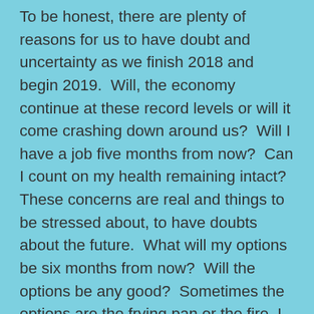To be honest, there are plenty of reasons for us to have doubt and uncertainty as we finish 2018 and begin 2019.  Will, the economy continue at these record levels or will it come crashing down around us?  Will I have a job five months from now?  Can I count on my health remaining intact?  These concerns are real and things to be stressed about, to have doubts about the future.  What will my options be six months from now?  Will the options be any good?  Sometimes the options are the frying pan or the fire. I am so thankful to live in the land of freedom of choice, but sometimes both opportunities for your future are bad